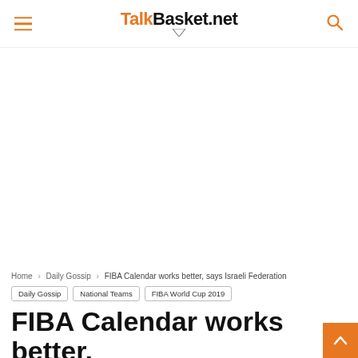TalkBasket.net
[Figure (other): White advertisement/blank space area]
Home › Daily Gossip › FIBA Calendar works better, says Israeli Federation
Daily Gossip
National Teams
FIBA World Cup 2019
FIBA Calendar works better,